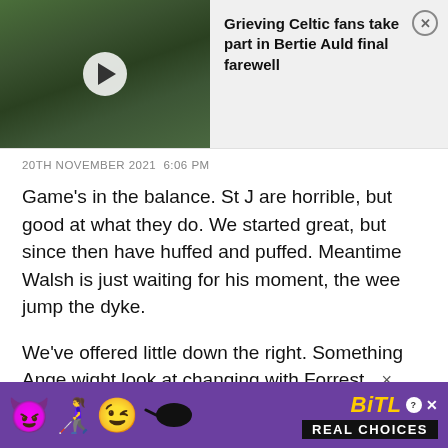[Figure (screenshot): Video thumbnail showing a crowd of people gathered outdoors, with a play button overlay. Adjacent notification card with text 'Grieving Celtic fans take part in Bertie Auld final farewell' and a close button.]
20TH NOVEMBER 2021  6:06 PM
Game's in the balance. St J are horrible, but good at what they do. We started great, but since then have huffed and puffed. Meantime Walsh is just waiting for his moment, the wee jump the dyke.
We've offered little down the right. Something Ange wight look at changing with Forrest.
[Figure (infographic): BitLife advertisement banner with colorful emojis (devil, woman with bunny ears, winking face) on purple background, BitLife logo in yellow italic text, and 'REAL CHOICES' text on black background.]